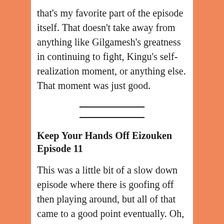that's my favorite part of the episode itself. That doesn't take away from anything like Gilgamesh's greatness in continuing to fight, Kingu's self-realization moment, or anything else. That moment was just good.
Keep Your Hands Off Eizouken Episode 11
This was a little bit of a slow down episode where there is goofing off then playing around, but all of that came to a good point eventually. Oh, the school held down their believes on clubs only getting finances from inside the school despite the Eizouken having some good press with the city itself due to